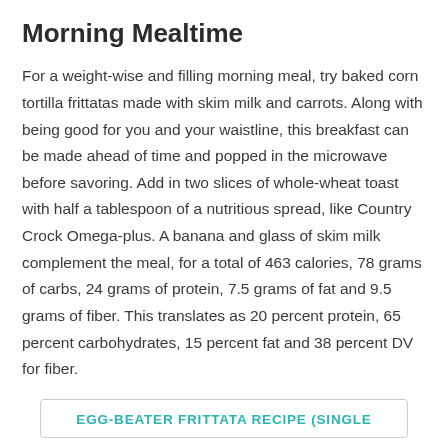Morning Mealtime
For a weight-wise and filling morning meal, try baked corn tortilla frittatas made with skim milk and carrots. Along with being good for you and your waistline, this breakfast can be made ahead of time and popped in the microwave before savoring. Add in two slices of whole-wheat toast with half a tablespoon of a nutritious spread, like Country Crock Omega-plus. A banana and glass of skim milk complement the meal, for a total of 463 calories, 78 grams of carbs, 24 grams of protein, 7.5 grams of fat and 9.5 grams of fiber. This translates as 20 percent protein, 65 percent carbohydrates, 15 percent fat and 38 percent DV for fiber.
EGG-BEATER FRITTATA RECIPE (SINGLE